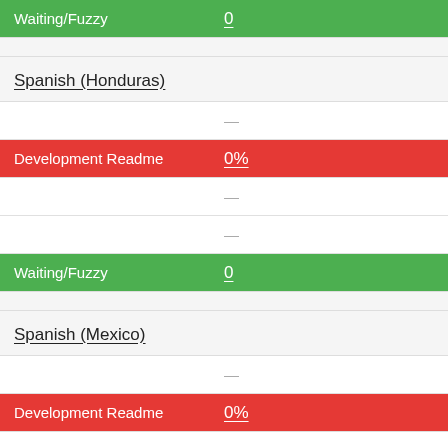| Category | Value |
| --- | --- |
| Waiting/Fuzzy | 0 |
| Spanish (Honduras) |  |
|  | — |
| Development Readme | 0% |
|  | — |
|  | — |
| Waiting/Fuzzy | 0 |
| Spanish (Mexico) |  |
|  | — |
| Development Readme | 0% |
|  | — |
|  | — |